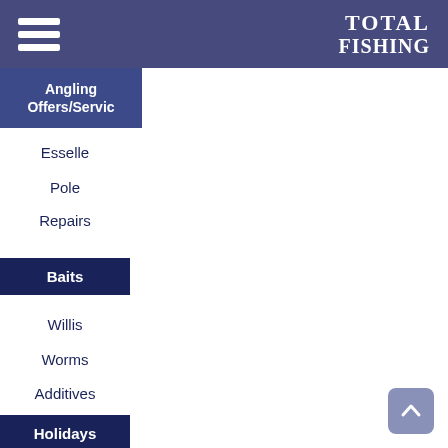TOTAL FISHING
Angling Offers/Services
Esselle
Pole
Repairs
Baits
Willis
Worms
Additives
Holidays
Worldwide